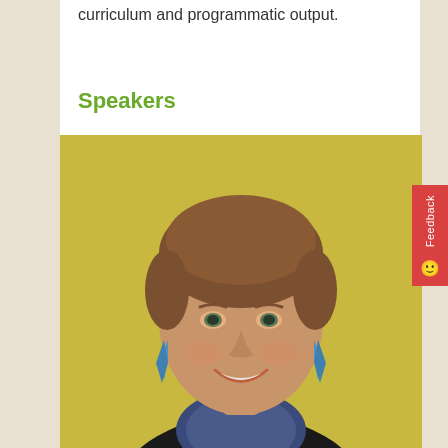curriculum and programmatic output.
Speakers
[Figure (photo): Headshot of a smiling woman with brown hair pulled back, wearing blue dangling earrings and a dark blazer over a floral top, photographed against a yellow/gold background.]